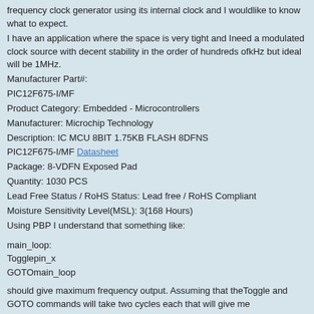frequency clock generator using its internal clock and I wouldlike to know what to expect.
I have an application where the space is very tight and Ineed a modulated clock source with decent stability in the order of hundreds ofkHz but ideal will be 1MHz.
Manufacturer Part#:
PIC12F675-I/MF
Product Category: Embedded - Microcontrollers
Manufacturer: Microchip Technology
Description: IC MCU 8BIT 1.75KB FLASH 8DFNS
PIC12F675-I/MF Datasheet
Package: 8-VDFN Exposed Pad
Quantity: 1030 PCS
Lead Free Status / RoHS Status: Lead free / RoHS Compliant
Moisture Sensitivity Level(MSL): 3(168 Hours)
Using PBP I understand that something like:
main_loop:
Togglepin_x
GOTOmain_loop
should give maximum frequency output. Assuming that theToggle and GOTO commands will take two cycles each that will give me possibleoutput frequency of Main_clock/4/4 which will be 250 kHz for a 4MHz clock.